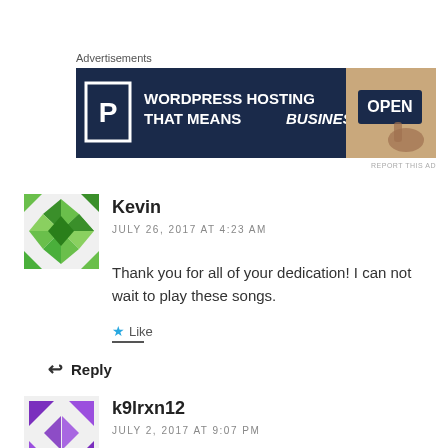Advertisements
[Figure (infographic): Advertisement banner: WordPress Hosting That Means Business with Pressable P logo and OPEN sign photo]
REPORT THIS AD
Kevin
JULY 26, 2017 AT 4:23 AM
Thank you for all of your dedication! I can not wait to play these songs.
Like
Reply
[Figure (illustration): Green geometric quilt-pattern avatar for user Kevin]
k9lrxn12
JULY 2, 2017 AT 9:07 PM
[Figure (illustration): Purple geometric arrow-pattern avatar for user k9lrxn12]